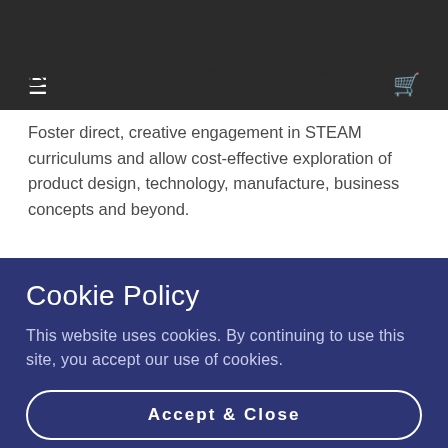☰  [cart icon]
Bring STEAM Subjects to Life
Foster direct, creative engagement in STEAM curriculums and allow cost-effective exploration of product design, technology, manufacture, business concepts and beyond.
Cookie Policy
This website uses cookies. By continuing to use this site, you accept our use of cookies.
Accept & Close